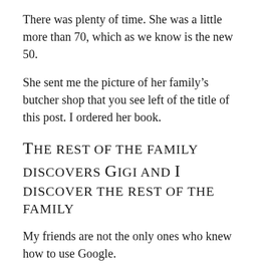There was plenty of time. She was a little more than 70, which as we know is the new 50.
She sent me the picture of her family’s butcher shop that you see left of the title of this post. I ordered her book.
The rest of the family discovers Gigi and I discover the rest of the family
My friends are not the only ones who knew how to use Google.
In June 2012 I got the following email from Gigi: